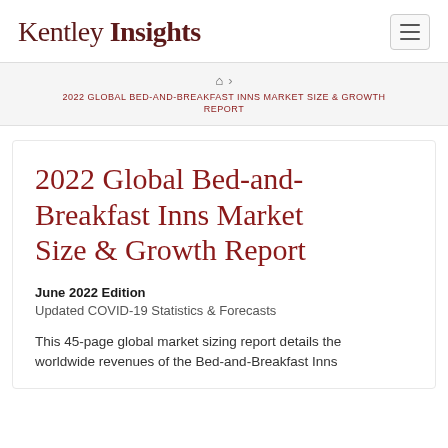Kentley Insights
🏠 › 2022 GLOBAL BED-AND-BREAKFAST INNS MARKET SIZE & GROWTH REPORT
2022 Global Bed-and-Breakfast Inns Market Size & Growth Report
June 2022 Edition
Updated COVID-19 Statistics & Forecasts
This 45-page global market sizing report details the worldwide revenues of the Bed-and-Breakfast Inns